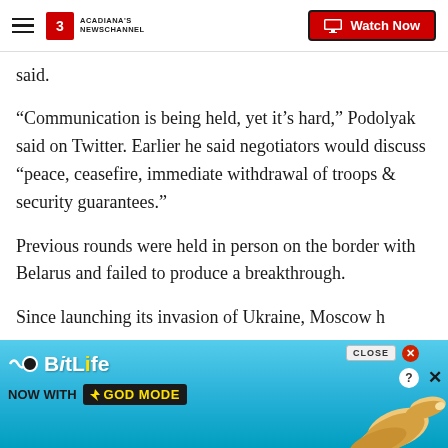Acadiana's Newschannel — Watch Now
said.
“Communication is being held, yet it’s hard,” Podolyak said on Twitter. Earlier he said negotiators would discuss “peace, ceasefire, immediate withdrawal of troops & security guarantees.”
Previous rounds were held in person on the border with Belarus and failed to produce a breakthrough.
Since launching its invasion of Ukraine, Moscow h
[Figure (screenshot): BitLife advertisement banner — BitLife app ad with text 'NOW WITH GOD MODE', animated wavy lines and hand graphic pointing right, on a light blue gradient background. CLOSE button and X visible in top right.]